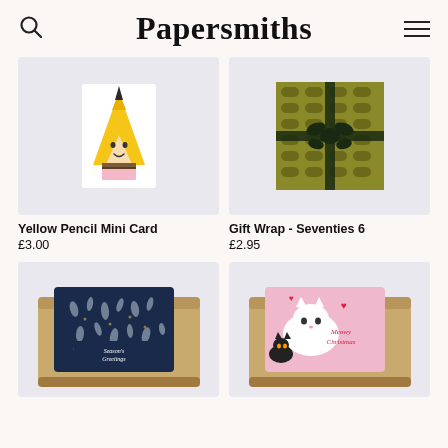Papersmiths
[Figure (photo): Yellow pencil mini card product image on light grey background]
Yellow Pencil Mini Card
£3.00
[Figure (photo): Gift wrap Seventies 6 pattern with dark ribbon on light grey background]
Gift Wrap - Seventies 6
£2.95
[Figure (photo): Boxed set of cards with dark navy botanical Season's Greetings design]
[Figure (photo): Boxed set of cards with pink cat-themed Meowy Christmas design]